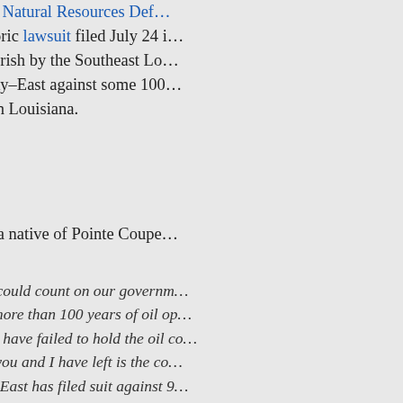Levees.org and the Natural Resources Defense Council in support of the historic lawsuit filed July 24 in court in Orleans Parish by the Southeast Louisiana Flood Protection Authority–East against some 100 companies active in Louisiana.
In the ad, Honoré, a native of Pointe Coupe...
I wish we could count on our government to protect us. But after more than 100 years of oil operations, legislators have failed to hold the oil companies accountable. The only recourse, you and I have left is the courts. The Southeast Louisiana Flood Protection Authority–East has filed suit against 97 oil companies in federal court to do what our mothers told us growing up...
[Figure (photo): Book cover of 'Leadership in the New Normal: A Short Course' showing a military officer in a beret]
"I do... Mond... belie...

The ... East... gove... thou... the s... Cald... dona... laws... laws...